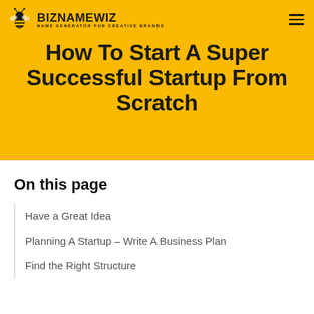BIZNAMEWIZ — NAME GENERATOR FOR CREATIVE BRANDS
How To Start A Super Successful Startup From Scratch
On this page
Have a Great Idea
Planning A Startup – Write A Business Plan
Find the Right Structure